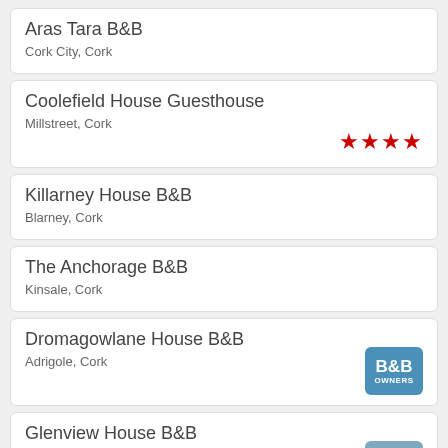Aras Tara B&B
Cork City, Cork
Coolefield House Guesthouse
Millstreet, Cork
★★★★
Killarney House B&B
Blarney, Cork
The Anchorage B&B
Kinsale, Cork
Dromagowlane House B&B
Adrigole, Cork
Glenview House B&B
Midleton, Cork